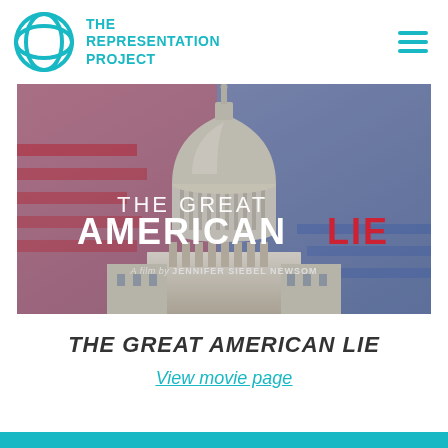THE REPRESENTATION PROJECT
[Figure (illustration): Movie banner for 'The Great American LIE' — a film by Jennifer Siebel Newsom. Shows the US Capitol dome against a dramatic red-blue sky with American flag imagery. Title text reads 'THE GREAT AMERICAN LIE' with 'LIE' in red, and subtitle 'A film by JENNIFER SIEBEL NEWSOM'.]
THE GREAT AMERICAN LIE
View movie page